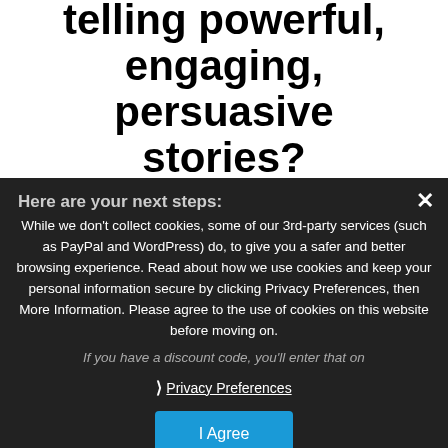telling powerful, engaging, persuasive stories?
Here are your next steps:
While we don't collect cookies, some of our 3rd-party services (such as PayPal and WordPress) do, to give you a safer and better browsing experience. Read about how we use cookies and keep your personal information secure by clicking Privacy Preferences, then More Information. Please agree to the use of cookies on this website before moving on.
If you have a discount code, you'll enter that on
❯ Privacy Preferences
I Agree